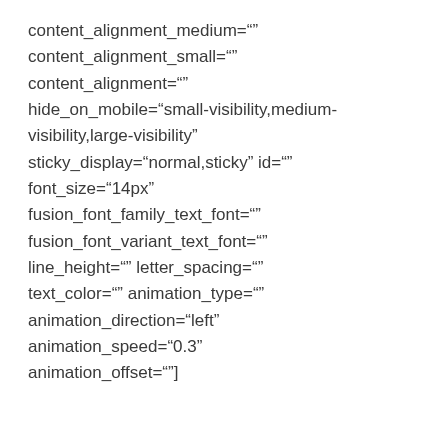content_alignment_medium=""
content_alignment_small=""
content_alignment=""
hide_on_mobile="small-visibility,medium-visibility,large-visibility"
sticky_display="normal,sticky" id=""
font_size="14px"
fusion_font_family_text_font=""
fusion_font_variant_text_font=""
line_height="" letter_spacing=""
text_color="" animation_type=""
animation_direction="left"
animation_speed="0.3"
animation_offset=""]